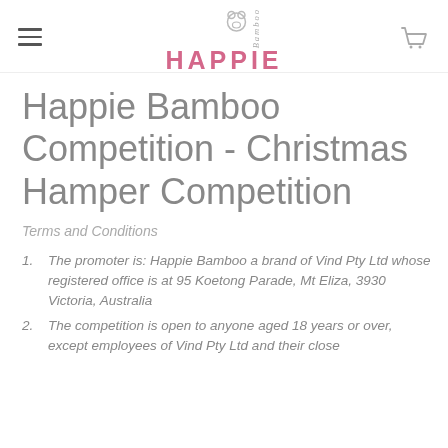HAPPIE Bamboo
Happie Bamboo Competition - Christmas Hamper Competition
Terms and Conditions
The promoter is: Happie Bamboo a brand of Vind Pty Ltd whose registered office is at 95 Koetong Parade, Mt Eliza, 3930 Victoria, Australia
The competition is open to anyone aged 18 years or over, except employees of Vind Pty Ltd and their close